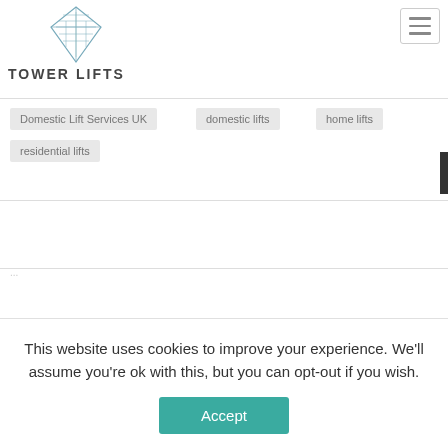[Figure (logo): Tower Lifts logo with stylized building/glass icon and text TOWER LIFTS]
Domestic Lift Services UK
domestic lifts
home lifts
residential lifts
This website uses cookies to improve your experience. We'll assume you're ok with this, but you can opt-out if you wish.
Accept